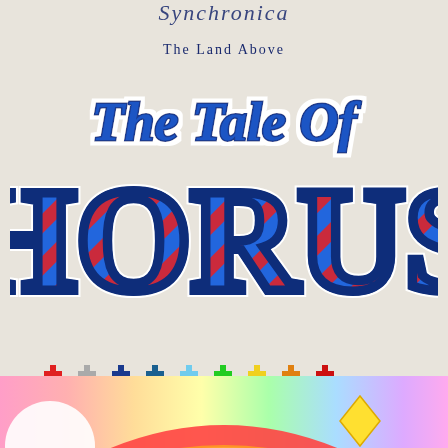The Land Above
The Tale Of HORUS
[Figure (illustration): Row of colorful pixel-art cross/plus shapes in various colors: red, gray, dark blue, teal/dark blue, light blue, green, yellow, orange, dark red]
[Figure (illustration): Rainbow arc illustration at the bottom of the page with pastel colors and a yellow diamond shape]